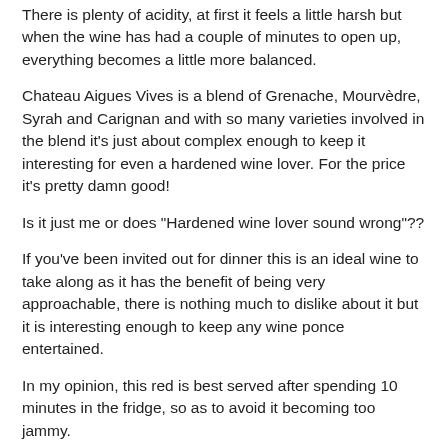There is plenty of acidity, at first it feels a little harsh but when the wine has had a couple of minutes to open up, everything becomes a little more balanced.
Chateau Aigues Vives is a blend of Grenache, Mourvèdre, Syrah and Carignan and with so many varieties involved in the blend it's just about complex enough to keep it interesting for even a hardened wine lover. For the price it's pretty damn good!
Is it just me or does "Hardened wine lover sound wrong"??
If you've been invited out for dinner this is an ideal wine to take along as it has the benefit of being very approachable, there is nothing much to dislike about it but it is interesting enough to keep any wine ponce entertained.
In my opinion, this red is best served after spending 10 minutes in the fridge, so as to avoid it becoming too jammy.
You can pick up a bottle of the Chateau Aigues Vives 2010 from Majestic for £9.99 or £8.99 if you buy two bottles